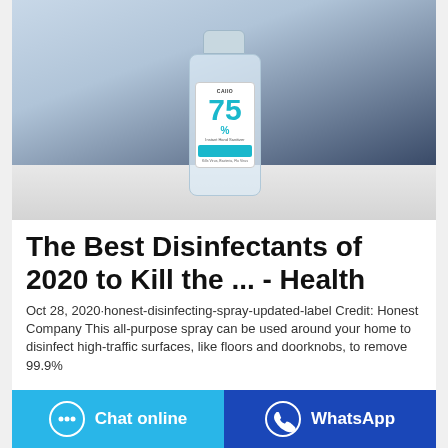[Figure (photo): A clear plastic hand sanitizer bottle with a label showing '75%' in teal color on a white background, placed on a light surface with a dark blue background]
The Best Disinfectants of 2020 to Kill the ... - Health
Oct 28, 2020·honest-disinfecting-spray-updated-label Credit: Honest Company This all-purpose spray can be used around your home to disinfect high-traffic surfaces, like floors and doorknobs, to remove 99.9%
Chat online
WhatsApp